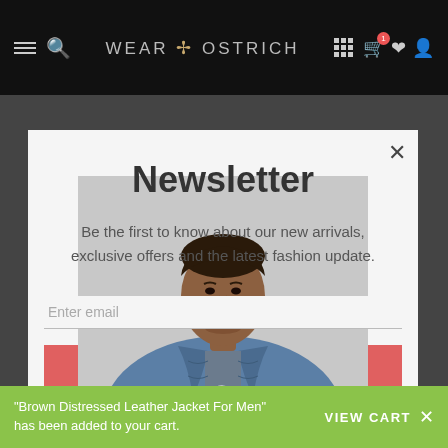WEAR OSTRICH — navigation bar with hamburger menu, search, logo, grid, cart (1), wishlist, profile icons
[Figure (screenshot): Modal popup on e-commerce website WearOstrich showing newsletter signup with a man wearing a blue distressed leather jacket]
Newsletter
Be the first to know about our new arrivals, exclusive offers and the latest fashion update.
Enter email
SUBSCRIBE
"Brown Distressed Leather Jacket For Men" has been added to your cart.
VIEW CART